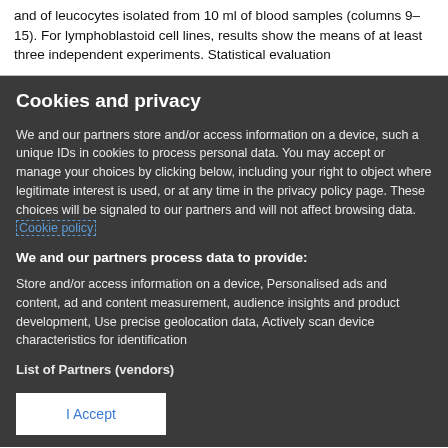and of leucocytes isolated from 10 ml of blood samples (columns 9–15). For lymphoblastoid cell lines, results show the means of at least three independent experiments. Statistical evaluation
Cookies and privacy
We and our partners store and/or access information on a device, such a unique IDs in cookies to process personal data. You may accept or manage your choices by clicking below, including your right to object where legitimate interest is used, or at any time in the privacy policy page. These choices will be signaled to our partners and will not affect browsing data. Cookie policy
We and our partners process data to provide:
Store and/or access information on a device, Personalised ads and content, ad and content measurement, audience insights and product development, Use precise geolocation data, Actively scan device characteristics for identification
List of Partners (vendors)
I Accept